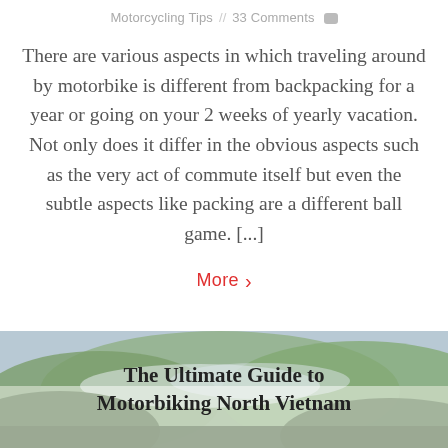Motorcycling Tips // 33 Comments
There are various aspects in which traveling around by motorbike is different from backpacking for a year or going on your 2 weeks of yearly vacation. Not only does it differ in the obvious aspects such as the very act of commute itself but even the subtle aspects like packing are a different ball game. [...]
More >
The Ultimate Guide to Motorbiking North Vietnam